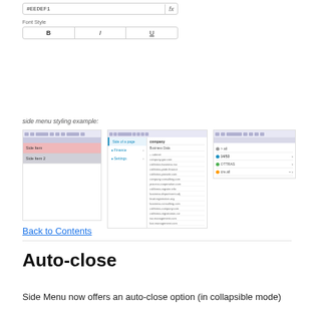[Figure (screenshot): UI showing an input field with '#EEDEF' text and an fx button, plus Font Style buttons B, I, U]
side menu styling example:
[Figure (screenshot): Three screenshots showing side menu styling examples: a left screenshot with pink/red highlighted menu items, a middle screenshot showing a blue side navigation menu with expandable items and a content list, and a right screenshot showing a panel with collapsible rows]
Back to Contents
Auto-close
Side Menu now offers an auto-close option (in collapsible mode)